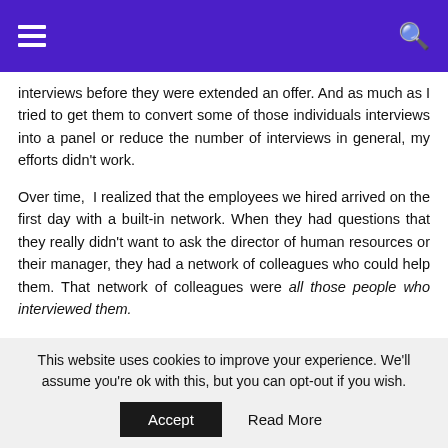interviews before they were extended an offer. And as much as I tried to get them to convert some of those individuals interviews into a panel or reduce the number of interviews in general, my efforts didn't work.
Over time, I realized that the employees we hired arrived on the first day with a built-in network. When they had questions that they really didn't want to ask the director of human resources or their manager, they had a network of colleagues who could help them. That network of colleagues were all those people who interviewed them.
So, something that I thought was unnecessary (like extra
This website uses cookies to improve your experience. We'll assume you're ok with this, but you can opt-out if you wish.